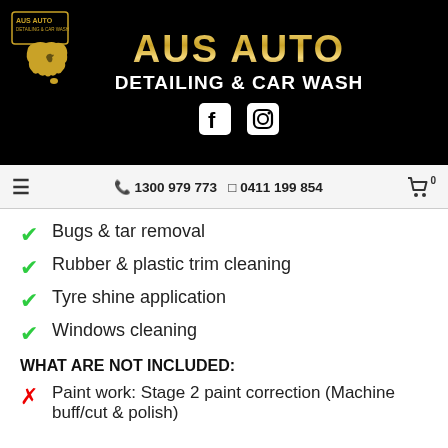[Figure (logo): Aus Auto Detailing & Car Wash logo with gold Australia map outline, kangaroo silhouette, and golden brand text. Facebook and Instagram icons below.]
☰   ✆ 1300 979 773   □ 0411 199 854   🛒 0
Bugs & tar removal
Rubber & plastic trim cleaning
Tyre shine application
Windows cleaning
WHAT ARE NOT INCLUDED:
Paint work: Stage 2 paint correction (Machine buff/cut & polish)